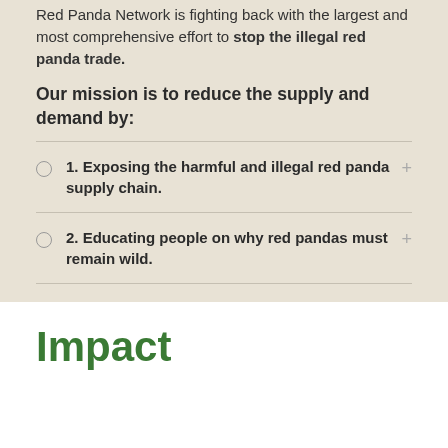Red Panda Network is fighting back with the largest and most comprehensive effort to stop the illegal red panda trade.
Our mission is to reduce the supply and demand by:
1. Exposing the harmful and illegal red panda supply chain.
2. Educating people on why red pandas must remain wild.
Impact